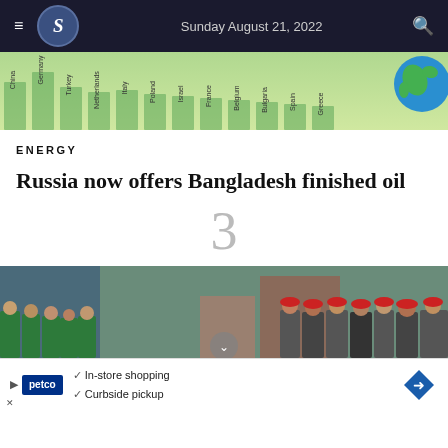Sunday August 21, 2022
[Figure (infographic): Partial bar chart showing country names (China, Germany, Turkey, Netherlands, Italy, Poland, Israel, France, Belgium, Bulgaria, Spain, Greece) with a globe image on the right side]
ENERGY
Russia now offers Bangladesh finished oil
3
[Figure (photo): Crowd of people wearing green shirts and red caps, appearing to be at some kind of gathering or event]
In-store shopping
Curbside pickup